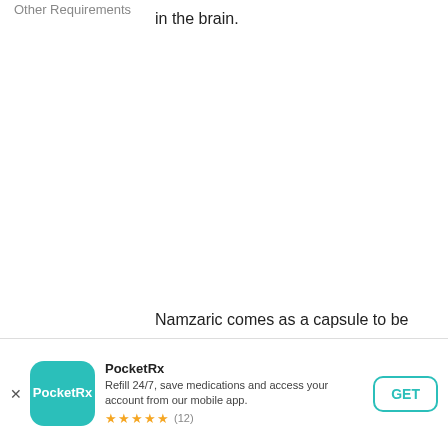Other Requirements
in the brain.
Namzaric comes as a capsule to be capsules can be opened to allow the
[Figure (other): PocketRx app advertisement banner with teal icon, app name, description 'Refill 24/7, save medications and access your account from our mobile app.', 5-star rating with (12) reviews, and a GET button]